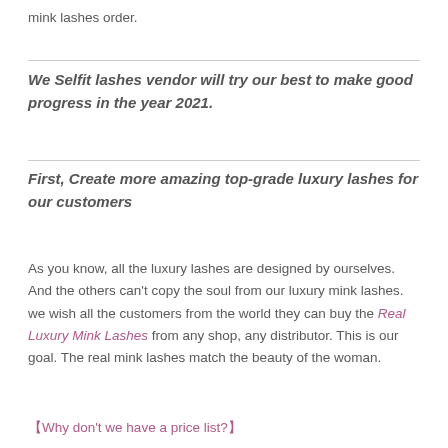mink lashes order.
We Selfit lashes vendor will try our best to make good progress in the year 2021.
First, Create more amazing top-grade luxury lashes for our customers
As you know, all the luxury lashes are designed by ourselves. And the others can't copy the soul from our luxury mink lashes. we wish all the customers from the world they can buy the Real Luxury Mink Lashes from any shop, any distributor. This is our goal. The real mink lashes match the beauty of the woman.
【Why don't we have a price list?】